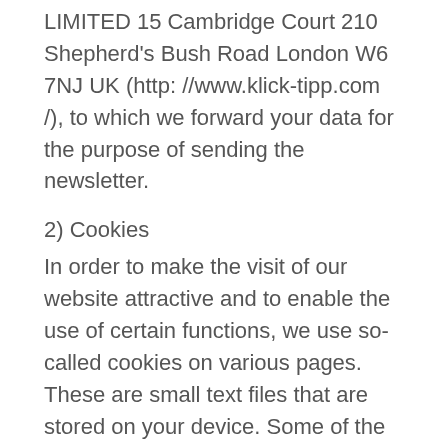LIMITED 15 Cambridge Court 210 Shepherd's Bush Road London W6 7NJ UK (http: //www.klick-tipp.com /), to which we forward your data for the purpose of sending the newsletter.
2) Cookies
In order to make the visit of our website attractive and to enable the use of certain functions, we use so-called cookies on various pages. These are small text files that are stored on your device. Some of the cookies we use are deleted after the end of the browser session, i.e. after closing your browser